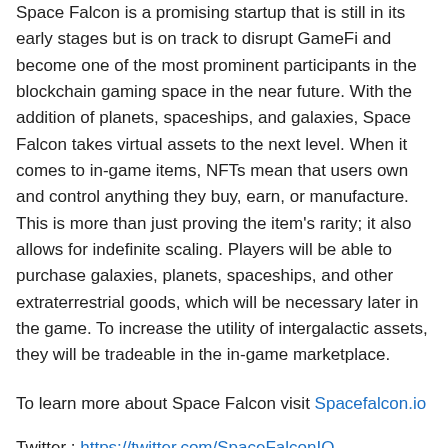Space Falcon is a promising startup that is still in its early stages but is on track to disrupt GameFi and become one of the most prominent participants in the blockchain gaming space in the near future. With the addition of planets, spaceships, and galaxies, Space Falcon takes virtual assets to the next level. When it comes to in-game items, NFTs mean that users own and control anything they buy, earn, or manufacture. This is more than just proving the item's rarity; it also allows for indefinite scaling. Players will be able to purchase galaxies, planets, spaceships, and other extraterrestrial goods, which will be necessary later in the game. To increase the utility of intergalactic assets, they will be tradeable in the in-game marketplace.
To learn more about Space Falcon visit Spacefalcon.io
Twitter : https://twitter.com/SpaceFalconIO